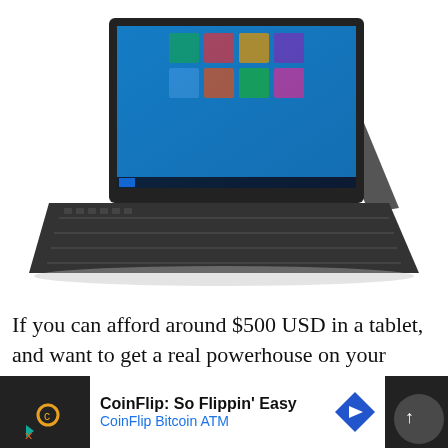[Figure (photo): A tablet/laptop hybrid device (similar to Microsoft Surface) shown at an angle, with keyboard attached and kickstand propped up, running Windows 10. The device is dark/black colored.]
If you can afford around $500 USD in a tablet, and want to get a real powerhouse on your hands, then this tablet by Teclast is your best pick. Because it's powered by an Intel Core m3-6Y30 CPU, which will give you a powerful and solid performance at all times. And what is there to say about the battery: extremely powerful. Long-lasting and ready to hold up such a powerful and clean
[Figure (other): Advertisement bar for CoinFlip Bitcoin ATM showing logos, text 'CoinFlip: So Flippin' Easy' and 'CoinFlip Bitcoin ATM', and a blue navigation arrow icon.]